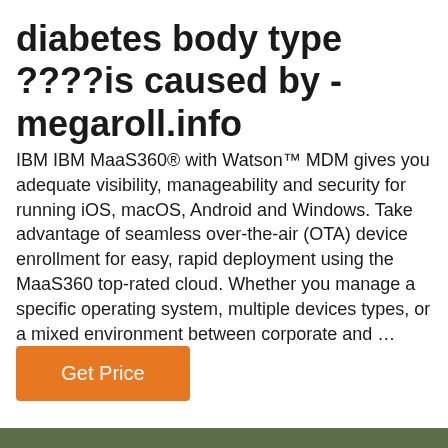diabetes body type ????is caused by - megaroll.info
IBM IBM MaaS360® with Watson™ MDM gives you adequate visibility, manageability and security for running iOS, macOS, Android and Windows. Take advantage of seamless over-the-air (OTA) device enrollment for easy, rapid deployment using the MaaS360 top-rated cloud. Whether you manage a specific operating system, multiple devices types, or a mixed environment between corporate and …
Get Price